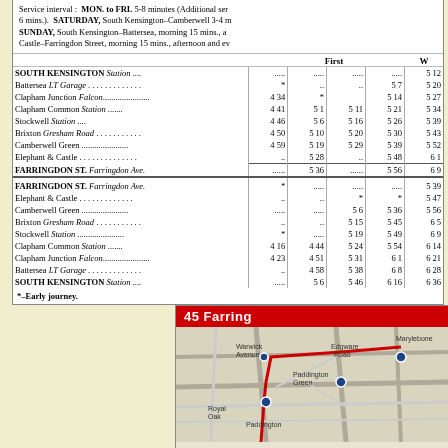Service interval: MON. to FRI. 5-8 minutes (Additional ser 6 mins.). SATURDAY, South Kensington-Camberwell 3-4 m SUNDAY, South Kensington-Battersea, morning 15 mins., a Castle-Farringdon Street, morning 15 mins., afternoon and ev
| Stop | First | W |  |  |  |
| --- | --- | --- | --- | --- | --- |
| SOUTH KENSINGTON Station .... | ..... | ..... | ..... | ..... | 5 12 |
| Battersea LT Garage . . . . . . . . . . . . . | * | .. | .. | 5 7 | 5 20 |
| Clapham Junction Falcon...................... | 4 34 | * |  | 5 14 | 5 27 |
| Clapham Common Station ....... | 4 41 | 5 1 | 5 11 | 5 21 | 5 34 |
| Stockwell Station .... | 4 46 | 5 6 | 5 16 | 5 26 | 5 39 |
| Brixton Gresham Road . . . . . . . . . . . | 4 50 | 5 10 | 5 20 | 5 30 | 5 43 |
| Camberwell Green ...................... | 4 59 | 5 19 | 5 29 | 5 39 | 5 52 |
| Elephant & Castle . . . . . . . . . . . . . . | .. | 5 28 | .. | 5 48 | 6 1 |
| FARRINGDON ST. Farringdon Ave. | .... | 5 36 | .... | 5 56 | 6 9 |
| FARRINGDON ST. Farringdon Ave. | .... | .... | .... | .... | 5 39 |
| Elephant & Castle . . . . . . . . . . . . . | .. | .. | * | * | 5 47 |
| Camberwell Green ...................... | .... | .... | 5 6 | 5 36 | 5 56 |
| Brixton Gresham Road . . . . . . . . . . . | .. | .. | 5 15 | 5 45 | 6 5 |
| Stockwell Station ...................... | * | .... | 5 19 | 5 49 | 6 9 |
| Clapham Common Station ....... | 4 16 | 4 44 | 5 24 | 5 54 | 6 14 |
| Clapham Junction Falcon...................... | 4 23 | 4 51 | 5 31 | 6 1 | 6 21 |
| Battersea LT Garage . . . . . . . . . . . . . | .. | 4 58 | 5 38 | 6 8 | 6 28 |
| SOUTH KENSINGTON Station .... | .... | 5 6 | 5 46 | 6 16 | 6 36 |
*-Early journey.
[Figure (map): Route 45 Farringdon bus route map showing London streets including Warwick Avenue, Paddington Green, Royal Oak, Paddington, Edgware Road, Marylebone area]